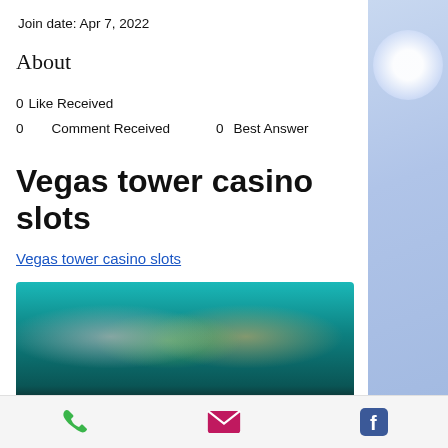Join date: Apr 7, 2022
About
0 Like Received
0 Comment Received    0 Best Answer
Vegas tower casino slots
Vegas tower casino slots
[Figure (photo): Blurred screenshot of a casino game app showing characters with teal/green background]
Phone | Email | Facebook icons